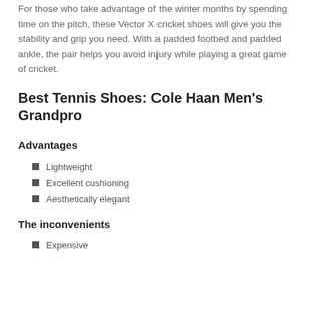For those who take advantage of the winter months by spending time on the pitch, these Vector X cricket shoes will give you the stability and grip you need. With a padded footbed and padded ankle, the pair helps you avoid injury while playing a great game of cricket.
Best Tennis Shoes: Cole Haan Men's Grandpro
Advantages
Lightweight
Excellent cushioning
Aesthetically elegant
The inconvenients
Expensive